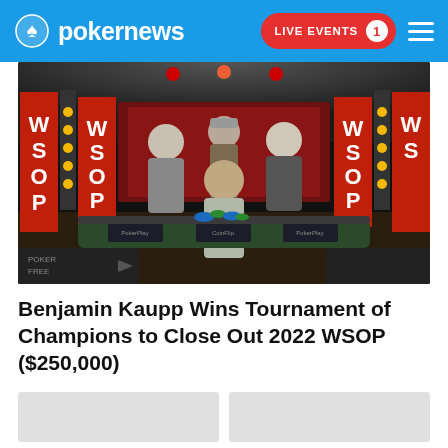pokernews — LIVE EVENTS 1
[Figure (photo): Benjamin Kaupp posing with three friends at the WSOP (World Series of Poker) final table, with large red WSOP branded columns in the background and poker chips on the table.]
Benjamin Kaupp Wins Tournament of Champions to Close Out 2022 WSOP ($250,000)